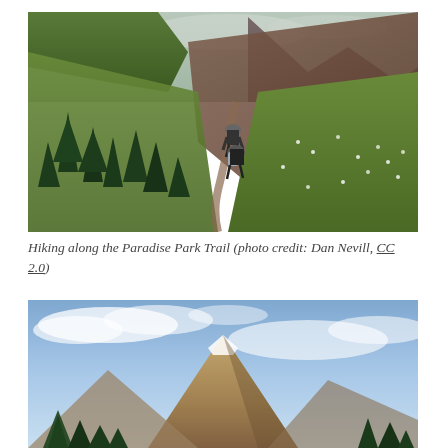[Figure (photo): Hikers walking along the Paradise Park Trail, a mountain alpine trail with green meadows, wildflowers, conifer trees, and mountain peaks in the background under cloudy skies.]
Hiking along the Paradise Park Trail (photo credit: Dan Nevill, CC 2.0)
[Figure (photo): A mountain landscape with a prominent rocky peak, light snow, evergreen trees in the foreground, and a partly cloudy blue sky.]